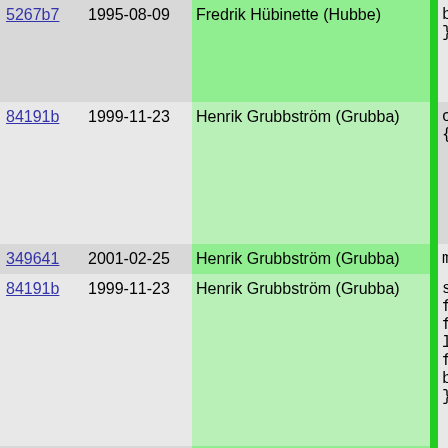| hash | date | author | code |
| --- | --- | --- | --- |
| 5267b7 | 1995-08-09 | Fredrik Hübinette (Hubbe) | break;
} |
| 84191b | 1999-11-23 | Henrik Grubbström (Grubba) | case F_SOR
{
  char *s
  init_bu |
| 349641 | 2001-02-25 | Henrik Grubbström (Grubba) | my_descr |
| 84191b | 1999-11-23 | Henrik Grubbström (Grubba) | s=simple
fprintf(
free(s)
low_prin
fprintf(
break;
} |
| 920d20 | 1999-11-06 | Henrik Grubbström (Grubba) | case F_CON |
| a2196f | 1999-11-21 | Henrik Grubbström (Grubba) | low_prin
if(_CAR(
{
  if(_CA
    _CD
    fpr
  else
    fpr
}
low_pri |